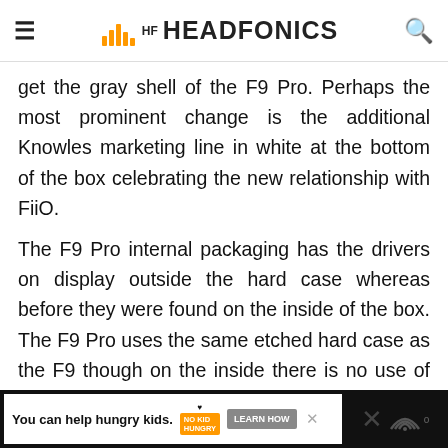HEADFONICS
get the gray shell of the F9 Pro. Perhaps the most prominent change is the additional Knowles marketing line in white at the bottom of the box celebrating the new relationship with FiiO.
The F9 Pro internal packaging has the drivers on display outside the hard case whereas before they were found on the inside of the box. The F9 Pro uses the same etched hard case as the F9 though on the inside there is no use of cardboard tip carriers and they are instead inside simple plastic white bags. That makes sense. I was never a fan of the cardboard holders as they fall apart easily and 12 sets are kind of...
You can help hungry kids. NO KID HUNGRY LEARN HOW